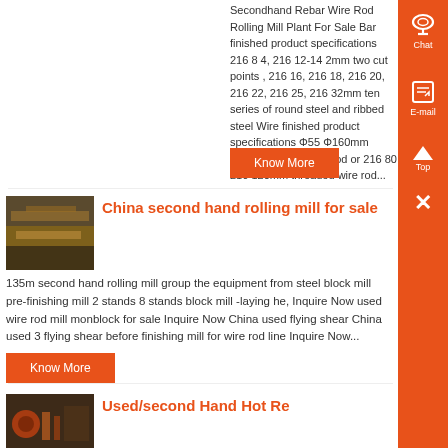Secondhand Rebar Wire Rod Rolling Mill Plant For Sale Bar finished product specifications 216 8 4, 216 12-14 2mm two cut points , 216 16, 216 18, 216 20, 216 22, 216 25, 216 32mm ten series of round steel and ribbed steel Wire finished product specifications Φ55 Φ160mm smooth surface wire rod or 216 80 216 120mm threaded wire rod...
Know More
China second hand rolling mill for sale
[Figure (photo): Photo of second hand rolling mill equipment]
135m second hand rolling mill group the equipment from steel block mill pre-finishing mill 2 stands 8 stands block mill -laying he, Inquire Now used wire rod mill monblock for sale Inquire Now China used flying shear China used 3 flying shear before finishing mill for wire rod line Inquire Now...
Know More
[Figure (photo): Photo of used/second hand hot re equipment]
Used/second Hand Hot Re